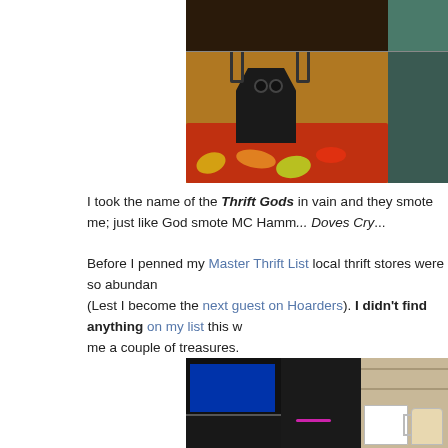[Figure (photo): Top composite photo showing a dark decorative owl-shaped candle holder or incense burner surrounded by colorful autumn leaves on a tray, with a dark wooden figurine visible in the upper portion and a teal background strip on the right.]
I took the name of the Thrift Gods in vain and they smote me; just like God smote MC Hamm... Doves Cry...
Before I penned my Master Thrift List local thrift stores were so abundan... (Lest I become the next guest on Hoarders). I didn't find anything on my list this w... me a couple of treasures.
[Figure (photo): Bottom photo showing a computer monitor/tower setup on a desk with a white ceramic mug with fruit design and a teapot visible to the right, with shelving in the background.]